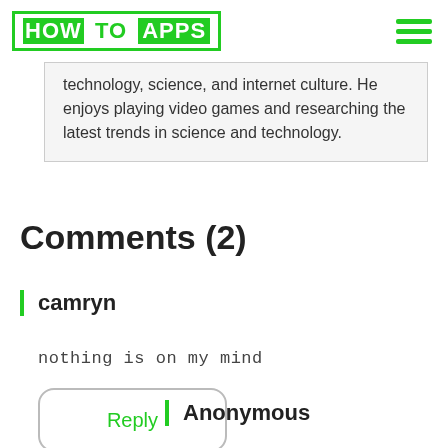HOW TO APPS
technology, science, and internet culture. He enjoys playing video games and researching the latest trends in science and technology.
Comments (2)
camryn
nothing is on my mind
Reply
Anonymous